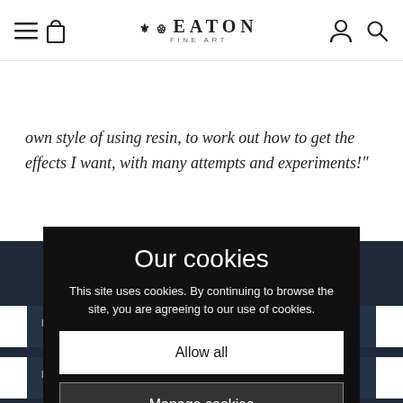Eaton Fine Art — Navigation bar with menu, bag, account and search icons
own style of using resin, to work out how to get the effects I want, with many attempts and experiments!"
SUBSCRIBE TO OUR NEWSLETTER
Our cookies
This site uses cookies. By continuing to browse the site, you are agreeing to our use of cookies.
Allow all
Manage cookies